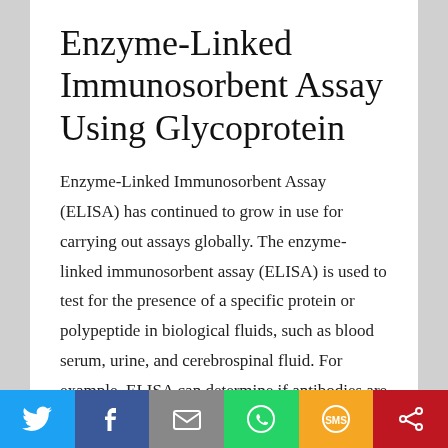Enzyme-Linked Immunosorbent Assay Using Glycoprotein
Enzyme-Linked Immunosorbent Assay (ELISA) has continued to grow in use for carrying out assays globally. The enzyme-linked immunosorbent assay (ELISA) is used to test for the presence of a specific protein or polypeptide in biological fluids, such as blood serum, urine, and cerebrospinal fluid. For example, ELISA can determine if antibodies are present that are [...]
[Figure (other): Social sharing bar with icons for Twitter, Facebook, Email, WhatsApp, SMS, and Share]